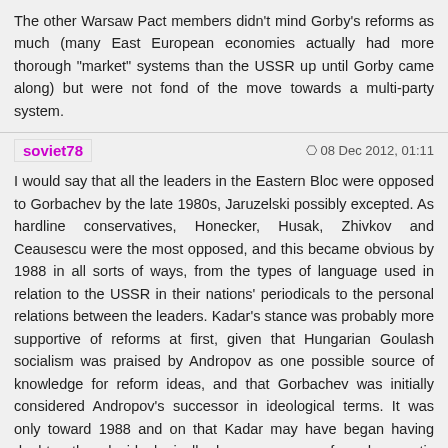The other Warsaw Pact members didn't mind Gorby's reforms as much (many East European economies actually had more thorough "market" systems than the USSR up until Gorby came along) but were not fond of the move towards a multi-party system.
soviet78
08 Dec 2012, 01:11
I would say that all the leaders in the Eastern Bloc were opposed to Gorbachev by the late 1980s, Jaruzelski possibly excepted. As hardline conservatives, Honecker, Husak, Zhivkov and Ceausescu were the most opposed, and this became obvious by 1988 in all sorts of ways, from the types of language used in relation to the USSR in their nations' periodicals to the personal relations between the leaders. Kadar's stance was probably more supportive of reforms at first, given that Hungarian Goulash socialism was praised by Andropov as one possible source of knowledge for reform ideas, and that Gorbachev was initially considered Andropov's successor in ideological terms. It was only toward 1988 and on that Kadar may have began having doubts, though ideologically he was more of a democratic socialist with conservative elements than a communist. Jaruzelski too